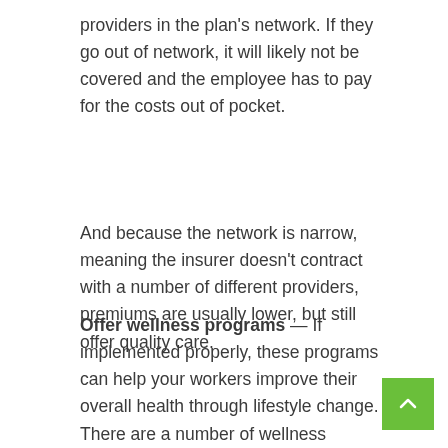providers in the plan's network. If they go out of network, it will likely not be covered and the employee has to pay for the costs out of pocket.
And because the network is narrow, meaning the insurer doesn't contract with a number of different providers, premiums are usually lower, but still offer quality care.
Offer wellness programs — If implemented properly, these programs can help your workers improve their overall health through lifestyle change. There are a number of wellness programs with a focus on a variety of areas, such as